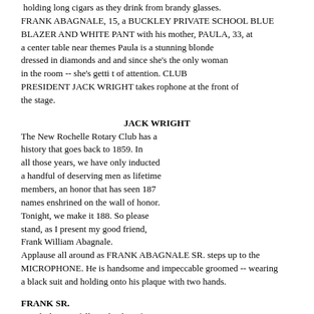holding long cigars as they drink from brandy glasses. FRANK ABAGNALE, 15, a BUCKLEY PRIVATE SCHOOL BLUE BLAZER AND WHITE PANT with his mother, PAULA, 33, at a center table near themes Paula is a stunning blonde dressed in diamonds and and since she's the only woman in the room -- she's getti t of attention. CLUB PRESIDENT JACK WRIGHT takes rophone at the front of the stage.
JACK WRIGHT
The New Rochelle Rotary Club has a history that goes back to 1859. In all those years, we have only inducted a handful of deserving men as lifetime members, an honor that has seen 187 names enshrined on the wall of honor. Tonight, we make it 188. So please stand, as I present my good friend, Frank William Abagnale.
Applause all around as FRANK ABAGNALE SR. steps up to the MICROPHONE. He is handsome and impeccable groomed -- wearing a black suit and holding onto his plaque with two hands.
FRANK SR.
Two little mice fell in a bucket of cream. The first mouse quickly gave up and drowned, but the second mouse wouldn't quit. He struggled so hard,
(MORE)